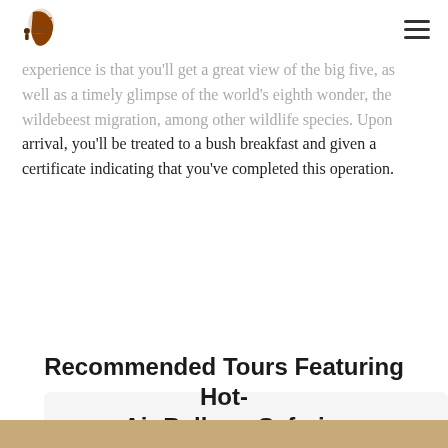Tembea Africa Tours & Travel
experience is that you'll get a great view of the big five, as well as a timely glimpse of the world's eighth wonder, the wildebeest migration, among other wildlife species. Upon arrival, you'll be treated to a bush breakfast and given a certificate indicating that you've completed this operation.
Contact Our Experts
Contact one of our travel specialists to begin preparing your custom safari.
Help Me Create My Trip
Recommended Tours Featuring Hot-Air Balloon Safari
[Figure (photo): Partial bottom strip of a photo, tan/golden color]